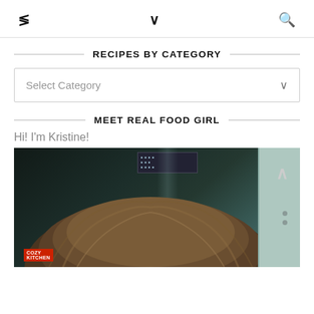Share | Dropdown | Search
RECIPES BY CATEGORY
Select Category
MEET REAL FOOD GIRL
Hi! I'm Kristine!
[Figure (photo): Photo of a woman (Kristine) from behind showing the top of her head with brown hair, standing in front of what appears to be a refrigerator/kitchen appliance, with a door visible on the right.]